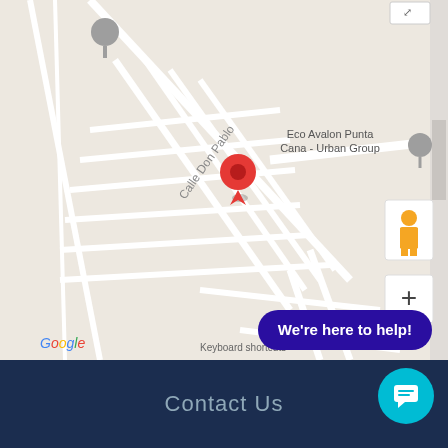[Figure (map): Google Maps screenshot showing a street map with 'Calle Don Pablo' labeled, a red location pin in the center, a gray location marker at top-left, and 'Eco Avalon Punta Cana - Urban Group' label with pin at upper right. Map controls visible on right side including a pegman/street view icon and zoom (+) button. Google logo and 'Keyboard shortcuts' text at bottom.]
We're here to help!
Contact Us